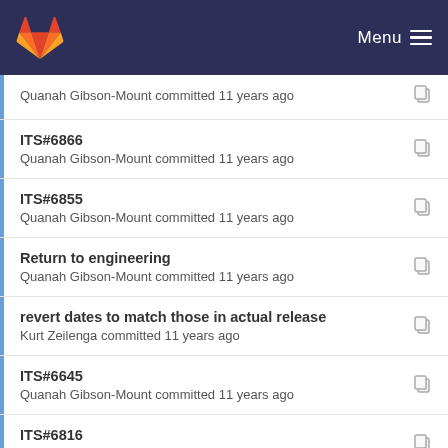Menu
ITS#6866
Quanah Gibson-Mount committed 11 years ago
ITS#6855
Quanah Gibson-Mount committed 11 years ago
Return to engineering
Quanah Gibson-Mount committed 11 years ago
revert dates to match those in actual release
Kurt Zeilenga committed 11 years ago
ITS#6645
Quanah Gibson-Mount committed 11 years ago
ITS#6816
Quanah Gibson-Mount committed 11 years ago
Tweak 6741 description
Howard Chu committed 11 years ago